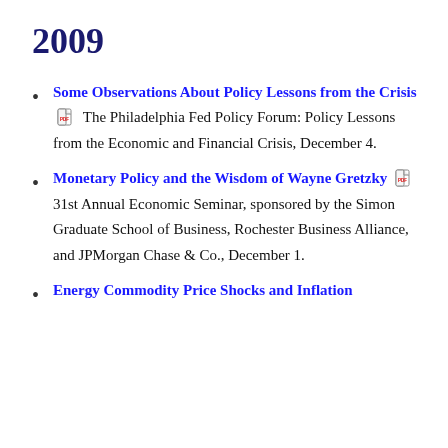2009
Some Observations About Policy Lessons from the Crisis [PDF] The Philadelphia Fed Policy Forum: Policy Lessons from the Economic and Financial Crisis, December 4.
Monetary Policy and the Wisdom of Wayne Gretzky [PDF] 31st Annual Economic Seminar, sponsored by the Simon Graduate School of Business, Rochester Business Alliance, and JPMorgan Chase & Co., December 1.
Energy Commodity Price Shocks and Inflation... (truncated)